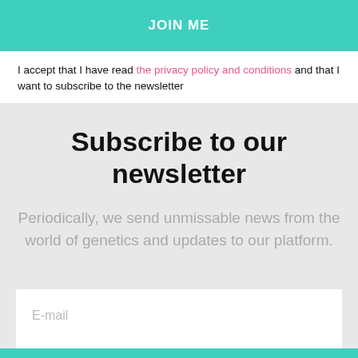[Figure (other): Teal button with bold white text 'JOIN ME']
I accept that I have read the privacy policy and conditions and that I want to subscribe to the newsletter
Subscribe to our newsletter
Periodically, we send unmissable news from the world of genetics and updates to our platform.
E-mail